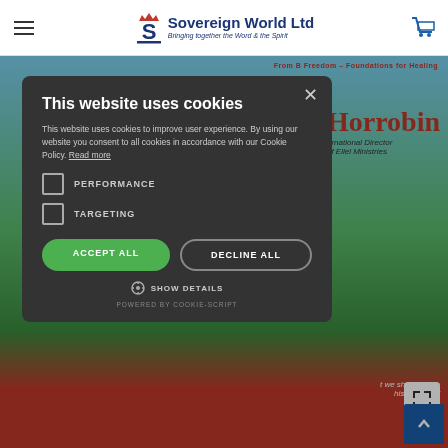Sovereign World Ltd — Bringing together the Word & the Spirit
[Figure (screenshot): Book cover background showing sky, green hills, and red band at bottom with partial text 'Horrobin', 'International Director of Ellel Ministries', and a quote]
This website uses cookies
This website uses cookies to improve user experience. By using our website you consent to all cookies in accordance with our Cookie Policy. Read more
PERFORMANCE
TARGETING
ACCEPT ALL
DECLINE ALL
SHOW DETAILS
POWERED BY COOKIE-SCRIPT